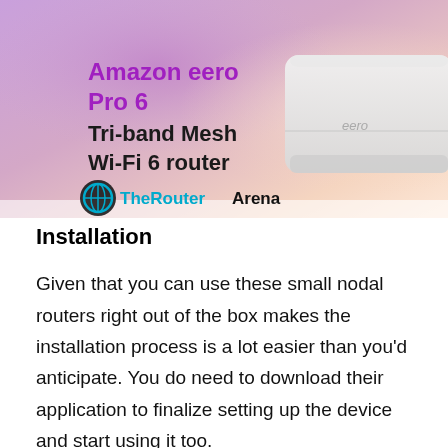[Figure (photo): Amazon eero Pro 6 Tri-band Mesh Wi-Fi 6 router product image with purple/pink/peach gradient background, white router device on the right, TheRouterArena logo in the bottom left]
Installation
Given that you can use these small nodal routers right out of the box makes the installation process is a lot easier than you'd anticipate. You do need to download their application to finalize setting up the device and start using it too.